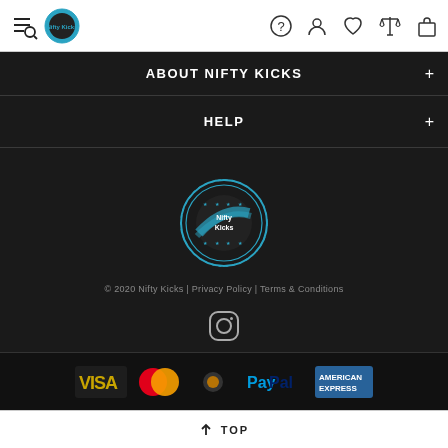Nifty Kicks navigation header with menu, logo, help, account, wishlist, compare, cart icons
ABOUT NIFTY KICKS
HELP
[Figure (logo): Nifty Kicks circular logo in blue and dark colors]
© 2020 Nifty Kicks | Privacy Policy | Terms & Conditions
[Figure (other): Instagram icon]
[Figure (other): Payment icons: Visa, MasterCard, Network, PayPal, American Express]
↑ TOP